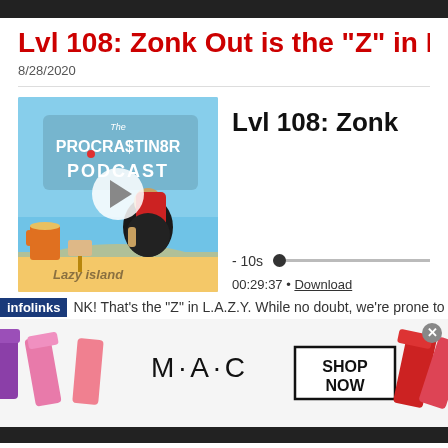Lvl 108: Zonk Out is the "Z" in LA...
8/28/2020
[Figure (screenshot): Podcast player widget showing The Procrastin8r Podcast artwork (cartoon character lounging on Lazy Island beach with headphones), episode title 'Lvl 108: Zonk', seek bar with -10s label and dot, duration 00:29:37 and Download link.]
NK! That's the "Z" in L.A.Z.Y. While no doubt, we're prone to...
[Figure (photo): MAC cosmetics advertisement showing lipsticks in purple, pink, and red with MAC logo and 'SHOP NOW' button.]